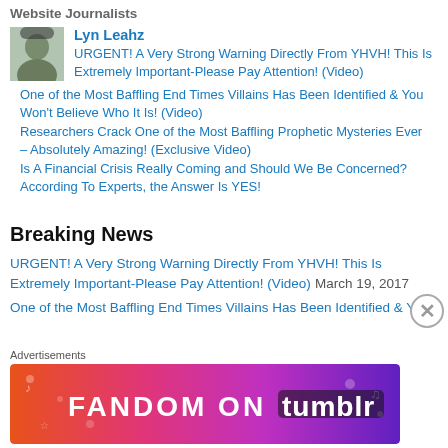Website Journalists
Lyn Leahz
URGENT! A Very Strong Warning Directly From YHVH! This Is Extremely Important-Please Pay Attention! (Video)
One of the Most Baffling End Times Villains Has Been Identified & You Won't Believe Who It Is! (Video)
Researchers Crack One of the Most Baffling Prophetic Mysteries Ever – Absolutely Amazing! (Exclusive Video)
Is A Financial Crisis Really Coming and Should We Be Concerned? According To Experts, the Answer Is YES!
Breaking News
URGENT! A Very Strong Warning Directly From YHVH! This Is Extremely Important-Please Pay Attention! (Video) March 19, 2017
One of the Most Baffling End Times Villains Has Been Identified & You
Advertisements
[Figure (other): Fandom on Tumblr advertisement banner with colorful gradient background in orange, pink and purple with white text reading FANDOM ON tumblr]